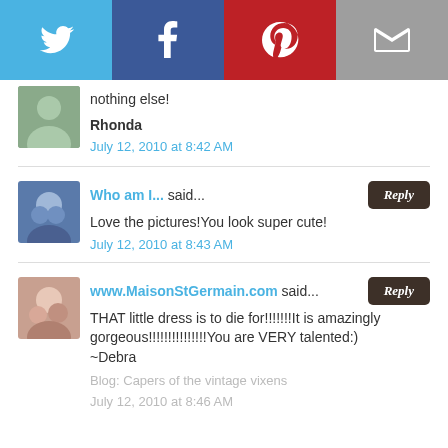[Figure (other): Social share bar with Twitter, Facebook, Pinterest, and Email icons]
nothing else!
Rhonda
July 12, 2010 at 8:42 AM
Who am I... said...
Love the pictures!You look super cute!
July 12, 2010 at 8:43 AM
www.MaisonStGermain.com said...
THAT little dress is to die for!!!!!!!It is amazingly gorgeous!!!!!!!!!!!!!!!You are VERY talented:) ~Debra
Blog: Capers of the vintage vixens
July 12, 2010 at 8:46 AM